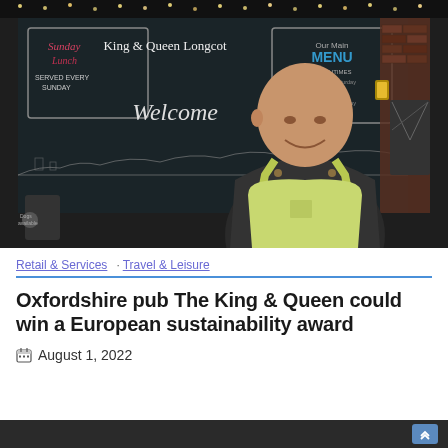[Figure (photo): A man wearing a green/yellow apron standing in front of a chalkboard wall displaying 'King & Queen Longcot', 'Welcome', 'Sunday Lunch', and 'Our Main Menu' signs inside a pub]
Retail & Services  Travel & Leisure
Oxfordshire pub The King & Queen could win a European sustainability award
August 1, 2022